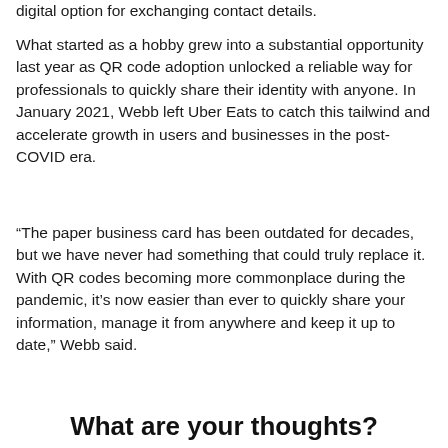digital option for exchanging contact details.
What started as a hobby grew into a substantial opportunity last year as QR code adoption unlocked a reliable way for professionals to quickly share their identity with anyone. In January 2021, Webb left Uber Eats to catch this tailwind and accelerate growth in users and businesses in the post-COVID era.
“The paper business card has been outdated for decades, but we have never had something that could truly replace it. With QR codes becoming more commonplace during the pandemic, it’s now easier than ever to quickly share your information, manage it from anywhere and keep it up to date,” Webb said.
What are your thoughts?